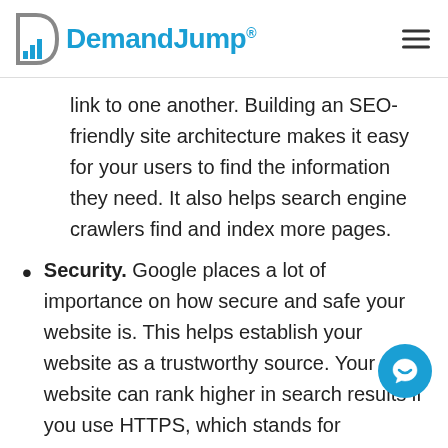DemandJump®
link to one another. Building an SEO-friendly site architecture makes it easy for your users to find the information they need. It also helps search engine crawlers find and index more pages.
Security. Google places a lot of importance on how secure and safe your website is. This helps establish your website as a trustworthy source. Your website can rank higher in search results if you use HTTPS, which stands for Hypertext Transfer Protocol Secure, and not HTTP.
On-Page Optimization